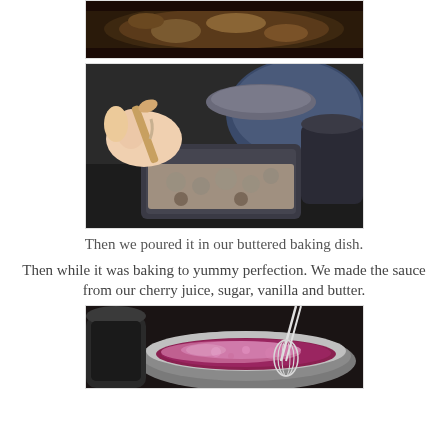[Figure (photo): Top partial photo of food in a dark pan, cropped at top]
[Figure (photo): Hands pouring batter into a buttered glass baking dish using a wooden spoon and a bowl]
Then we poured it in our buttered baking dish.
Then while it was baking to yummy perfection. We made the sauce from our cherry juice, sugar, vanilla and butter.
[Figure (photo): A stainless steel bowl with pink/purple cherry sauce being whisked]